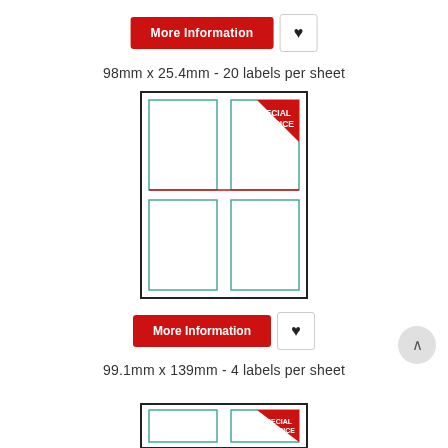[Figure (other): More Information button (red) with heart icon button]
98mm x 25.4mm - 20 labels per sheet
[Figure (other): Sheet preview showing 4 label cells in 2x2 grid with green borders and red horizontal divider line, and a red SPECIAL PRICE corner banner]
[Figure (other): More Information button (red) with heart icon button]
99.1mm x 139mm - 4 labels per sheet
[Figure (other): Partial sheet preview at bottom of page]